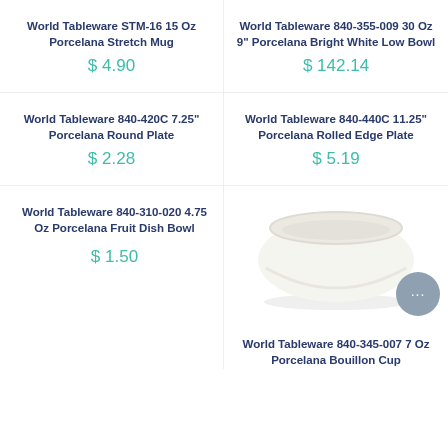World Tableware STM-16 15 Oz Porcelana Stretch Mug
$ 4.90
World Tableware 840-355-009 30 Oz 9" Porcelana Bright White Low Bowl
$ 142.14
World Tableware 840-420C 7.25" Porcelana Round Plate
$ 2.28
World Tableware 840-440C 11.25" Porcelana Rolled Edge Plate
$ 5.19
World Tableware 840-310-020 4.75 Oz Porcelana Fruit Dish Bowl
$ 1.50
[Figure (photo): White ceramic bowl (World Tableware 840-345-007 7 Oz Porcelana Bouillon Cup) with a chat bubble icon overlay]
World Tableware 840-345-007 7 Oz Porcelana Bouillon Cup